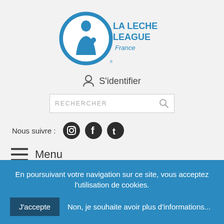[Figure (logo): La Leche League France logo — blue oval with mother and baby silhouette, text 'LA LECHE LEAGUE France']
S'identifier
RECHERCHER
Nous suivre :
[Figure (other): Social media icons: Instagram, Facebook, Tumblr]
Menu
Accueil
En poursuivant votre navigation sur ce site, vous acceptez l'utilisation de cookies.
J'accepte
Non, je souhaite avoir plus d'informations...